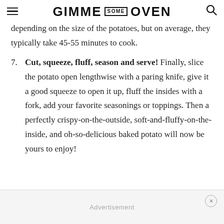GIMME SOME OVEN
depending on the size of the potatoes, but on average, they typically take 45-55 minutes to cook.
7. Cut, squeeze, fluff, season and serve! Finally, slice the potato open lengthwise with a paring knife, give it a good squeeze to open it up, fluff the insides with a fork, add your favorite seasonings or toppings. Then a perfectly crispy-on-the-outside, soft-and-fluffy-on-the-inside, and oh-so-delicious baked potato will now be yours to enjoy!
Advertisement